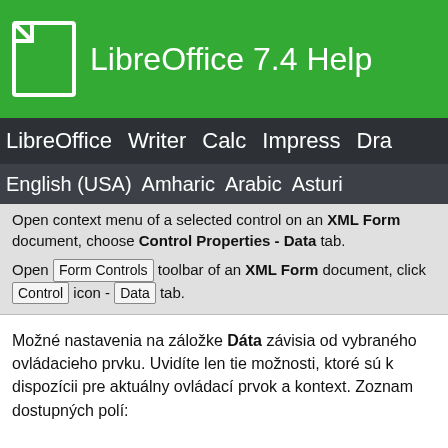LibreOffice 7.4 Help
LibreOffice Writer Calc Impress Dra
English (USA) Amharic Arabic Asturi
Open context menu of a selected control on an XML Form document, choose Control Properties - Data tab.
Open Form Controls toolbar of an XML Form document, click Control icon - Data tab.
Možné nastavenia na záložke Dáta závisia od vybraného ovládacieho prvku. Uvidíte len tie možnosti, ktoré sú k dispozícii pre aktuálny ovládací prvok a kontext. Zoznam dostupných polí: